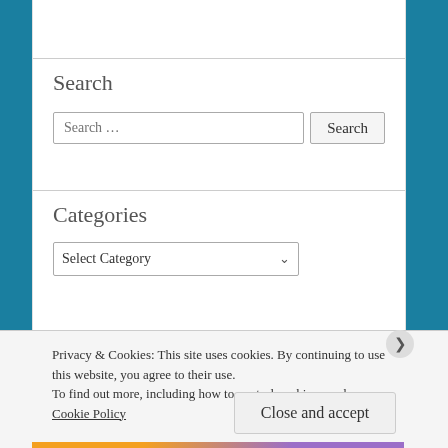Search
Search …
Categories
Select Category
Privacy & Cookies: This site uses cookies. By continuing to use this website, you agree to their use.
To find out more, including how to control cookies, see here: Cookie Policy
Close and accept